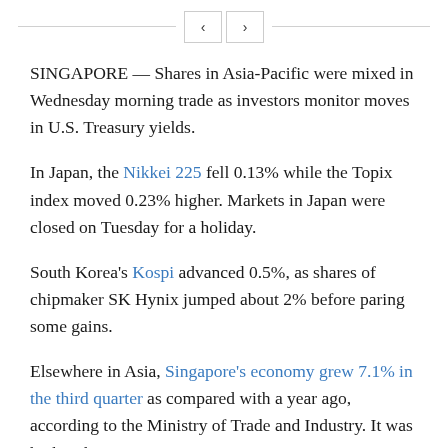< >
SINGAPORE — Shares in Asia-Pacific were mixed in Wednesday morning trade as investors monitor moves in U.S. Treasury yields.
In Japan, the Nikkei 225 fell 0.13% while the Topix index moved 0.23% higher. Markets in Japan were closed on Tuesday for a holiday.
South Korea's Kospi advanced 0.5%, as shares of chipmaker SK Hynix jumped about 2% before paring some gains.
Elsewhere in Asia, Singapore's economy grew 7.1% in the third quarter as compared with a year ago, according to the Ministry of Trade and Industry. It was higher than